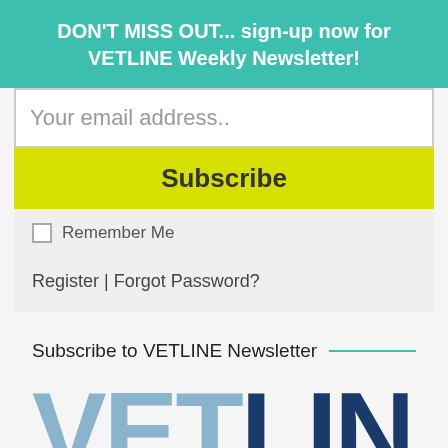DON'T MISS OUT... sign-up now for VETLINE Weekly Newsletter!
Your email address..
Subscribe
Remember Me
Register | Forgot Password?
Subscribe to VETLINE Newsletter
[Figure (logo): VETLINE logo in large bold text with 'VET' in light blue and 'LINE' in dark navy blue]